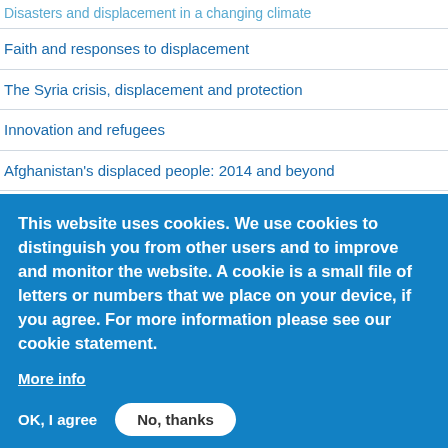Disasters and displacement in a changing climate
Faith and responses to displacement
The Syria crisis, displacement and protection
Innovation and refugees
Afghanistan's displaced people: 2014 and beyond
Crisis
Detention, alternatives to detention, and deportation
States of fragility
Statelessness, documentation and the protection of forced...
This website uses cookies. We use cookies to distinguish you from other users and to improve and monitor the website. A cookie is a small file of letters or numbers that we place on your device, if you agree. For more information please see our cookie statement.
More info
OK, I agree
No, thanks